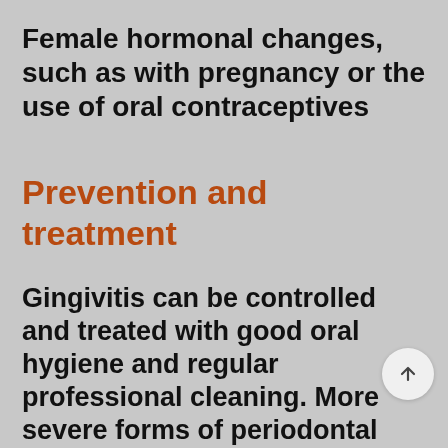Female hormonal changes, such as with pregnancy or the use of oral contraceptives
Prevention and treatment
Gingivitis can be controlled and treated with good oral hygiene and regular professional cleaning. More severe forms of periodontal disease can also be treated successfully but may require more extensive treatment. Such treatment might include deep cleaning of the tooth root surfaces below the gums, medications prescribed to take by